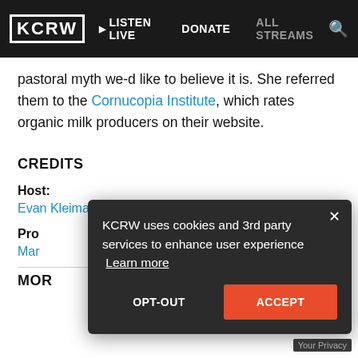[Figure (screenshot): KCRW navigation bar with logo, LISTEN LIVE, DONATE, ALL STREAMS, and search icon on dark background]
pastoral myth we-d like to believe it is. She referred them to the Cornucopia Institute, which rates organic milk producers on their website.
CREDITS
Host:
Evan Kleiman
Pro...
Mar...
MOR...
KCRW uses cookies and 3rd party services to enhance user experience  Learn more
OPT-OUT
ACCEPT